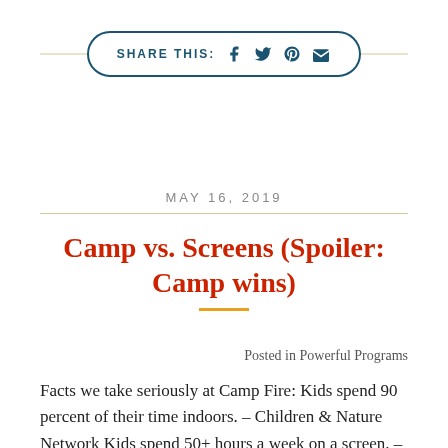[Figure (infographic): Share This button with social media icons (Facebook, Twitter, Pinterest, Email) in a rounded rectangle border with a horizontal line behind it]
MAY 16, 2019
Camp vs. Screens (Spoiler: Camp wins)
Posted in Powerful Programs
Facts we take seriously at Camp Fire: Kids spend 90 percent of their time indoors. – Children & Nature Network Kids spend 50+ hours a week on a screen. –